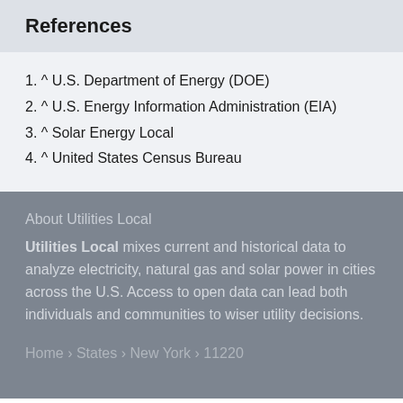References
1. ^ U.S. Department of Energy (DOE)
2. ^ U.S. Energy Information Administration (EIA)
3. ^ Solar Energy Local
4. ^ United States Census Bureau
About Utilities Local
Utilities Local mixes current and historical data to analyze electricity, natural gas and solar power in cities across the U.S. Access to open data can lead both individuals and communities to wiser utility decisions.
Home › States › New York › 11220